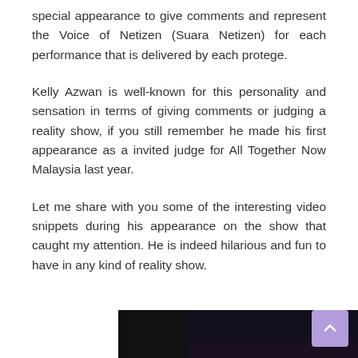special appearance to give comments and represent the Voice of Netizen (Suara Netizen) for each performance that is delivered by each protege.
Kelly Azwan is well-known for this personality and sensation in terms of giving comments or judging a reality show, if you still remember he made his first appearance as a invited judge for All Together Now Malaysia last year.
Let me share with you some of the interesting video snippets during his appearance on the show that caught my attention. He is indeed hilarious and fun to have in any kind of reality show.
[Figure (photo): Dark stage photo, partially visible at bottom of page, showing performers or a TV show set with purple/dark tones]